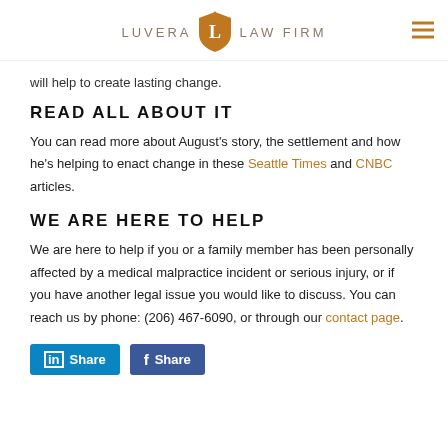LUVERA LAW FIRM
will help to create lasting change.
READ ALL ABOUT IT
You can read more about August's story, the settlement and how he's helping to enact change in these Seattle Times and CNBC articles.
WE ARE HERE TO HELP
We are here to help if you or a family member has been personally affected by a medical malpractice incident or serious injury, or if you have another legal issue you would like to discuss. You can reach us by phone: (206) 467-6090, or through our contact page.
[Figure (other): LinkedIn Share button and Facebook Share button]